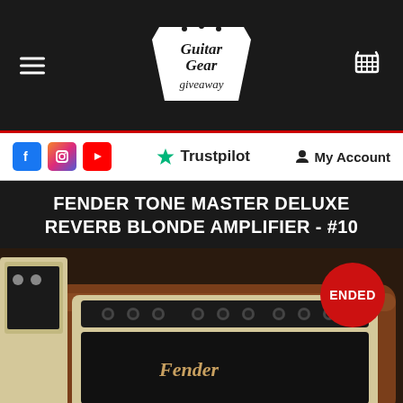[Figure (logo): Guitar Gear Giveaway logo — white pennant/badge shape with script text 'Guitar Gear giveaway']
[Figure (screenshot): Navigation bar with hamburger menu icon on left, shopping cart icon on right]
[Figure (screenshot): Social media bar with Facebook, Instagram, YouTube icons, Trustpilot rating, and My Account link]
FENDER TONE MASTER DELUXE REVERB BLONDE AMPLIFIER - #10
[Figure (photo): Photo of a Fender Tone Master Deluxe Reverb Blonde Amplifier with 'ENDED' badge overlay in red circle, set against a brown leather sofa background]